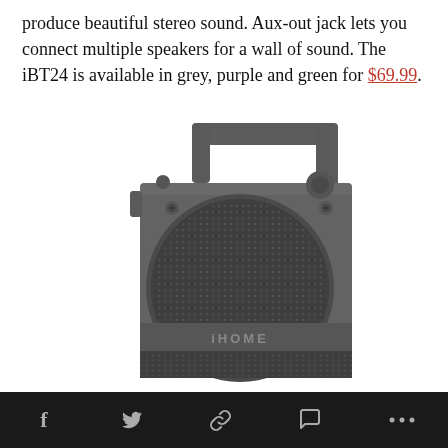produce beautiful stereo sound. Aux-out jack lets you connect multiple speakers for a wall of sound. The iBT24 is available in grey, purple and green for $69.99.
[Figure (photo): Gray iHome iBT24 Bluetooth speaker shown from front-top angle, with rectangular carry handle on top, circular speaker grille on front face, two knobs/jacks on top edge, and iHome branding across the lower speaker grille.]